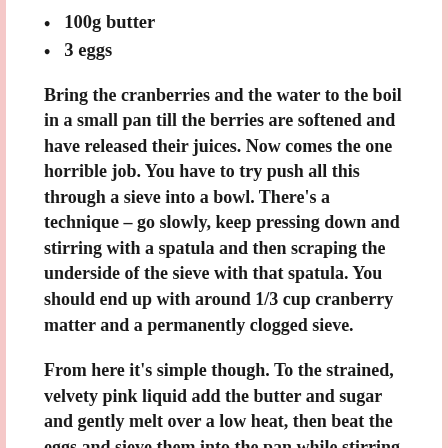100g butter
3 eggs
Bring the cranberries and the water to the boil in a small pan till the berries are softened and have released their juices. Now comes the one horrible job. You have to try push all this through a sieve into a bowl. There's a technique – go slowly, keep pressing down and stirring with a spatula and then scraping the underside of the sieve with that spatula. You should end up with around 1/3 cup cranberry matter and a permanently clogged sieve.
From here it's simple though. To the strained, velvety pink liquid add the butter and sugar and gently melt over a low heat, then beat the eggs and sieve them into the pan while stirring (ordinarily a pain but you've already got a dirty